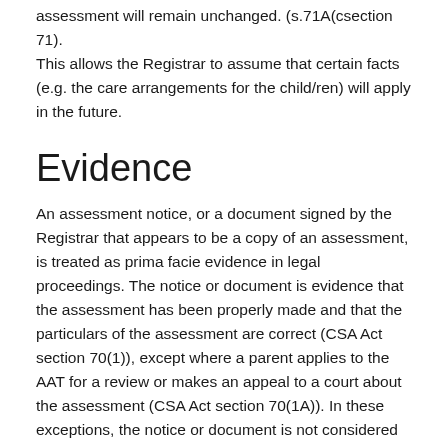assessment will remain unchanged. (s.71A(csection 71). This allows the Registrar to assume that certain facts (e.g. the care arrangements for the child/ren) will apply in the future.
Evidence
An assessment notice, or a document signed by the Registrar that appears to be a copy of an assessment, is treated as prima facie evidence in legal proceedings. The notice or document is evidence that the assessment has been properly made and that the particulars of the assessment are correct (CSA Act section 70(1)), except where a parent applies to the AAT for a review or makes an appeal to a court about the assessment (CSA Act section 70(1A)). In these exceptions, the notice or document is not considered prima facie evidence that all the particulars of the notice of assessment are correct (42 and 43).